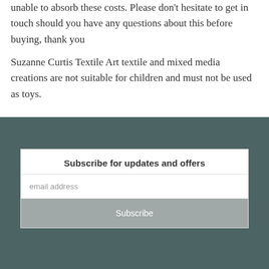unable to absorb these costs. Please don't hesitate to get in touch should you have any questions about this before buying, thank you
Suzanne Curtis Textile Art textile and mixed media creations are not suitable for children and must not be used as toys.
Subscribe for updates and offers
email address
Subscribe
[Figure (infographic): Social media icons: Instagram, Facebook, Twitter in white on teal background]